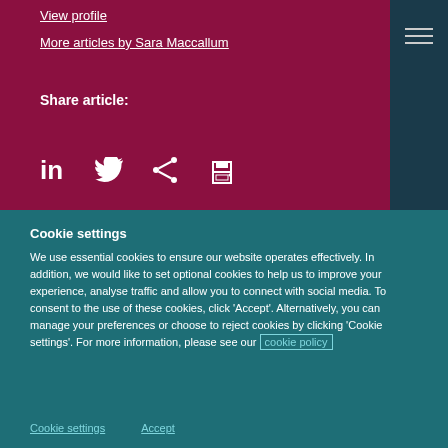View profile
More articles by Sara Maccallum
Share article:
[Figure (infographic): Social sharing icons: LinkedIn, Twitter, Share, Print]
Cookie settings
We use essential cookies to ensure our website operates effectively. In addition, we would like to set optional cookies to help us to improve your experience, analyse traffic and allow you to connect with social media. To consent to the use of these cookies, click ‘Accept’. Alternatively, you can manage your preferences or choose to reject cookies by clicking ‘Cookie settings’. For more information, please see our cookie policy
Cookie settings   Accept